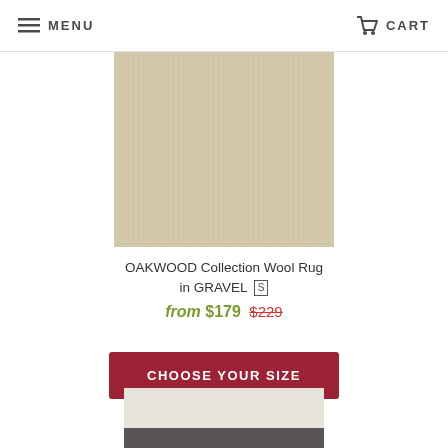MENU  CART
[Figure (photo): Beige/natural wool rug swatch for OAKWOOD Collection in GRAVEL colorway]
OAKWOOD Collection Wool Rug in GRAVEL [S]
from $179  $229
CHOOSE YOUR SIZE
[Figure (photo): Partial preview of a second rug product with light and dark sections visible at bottom of page]